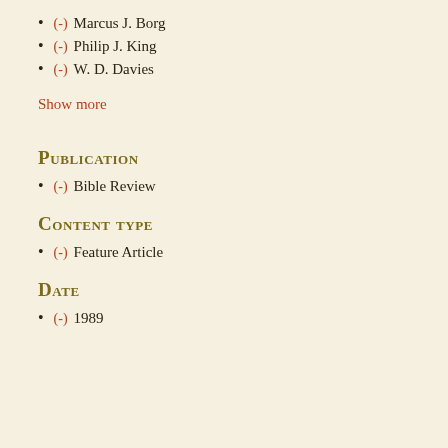(-) Marcus J. Borg
(-) Philip J. King
(-) W. D. Davies
Show more
Publication
(-) Bible Review
Content type
(-) Feature Article
Date
(-) 1989